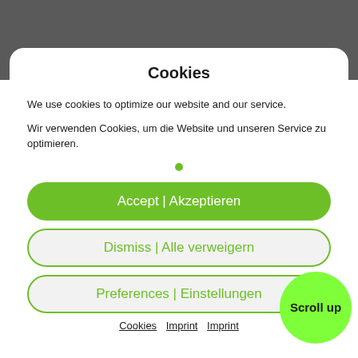Cookies
We use cookies to optimize our website and our service.
Wir verwenden Cookies, um die Website und unseren Service zu optimieren.
Accept | Akzeptieren
Dismiss | Alle verweigern
Preferences | Einstellungen
Cookies  Imprint  Imprint
Scroll up